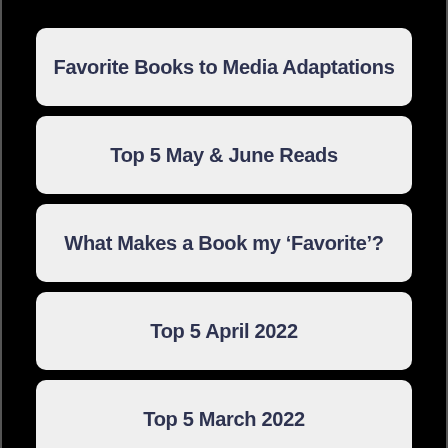Favorite Books to Media Adaptations
Top 5 May & June Reads
What Makes a Book my ‘Favorite’?
Top 5 April 2022
Top 5 March 2022